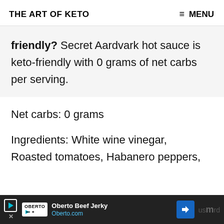THE ART OF KETO   ≡ MENU
friendly? Secret Aardvark hot sauce is keto-friendly with 0 grams of net carbs per serving.
Net carbs: 0 grams
Ingredients: White wine vinegar, Roasted tomatoes, Habanero peppers,
[Figure (other): Advertisement banner for Oberto Beef Jerky at Oberto.com with navigation arrow icon]